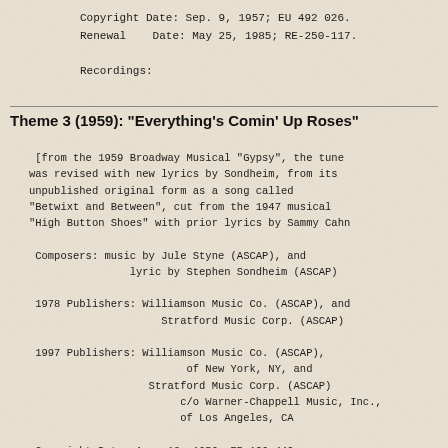Copyright Date: Sep. 9, 1957; EU 492 026.
Renewal    Date: May 25, 1985; RE-250-117.

Recordings:
Theme 3 (1959): "Everything's Comin' Up Roses"
[from the 1959 Broadway Musical "Gypsy", the tune was revised with new lyrics by Sondheim, from its unpublished original form as a song called "Betwixt and Between", cut from the 1947 musical "High Button Shoes" with prior lyrics by Sammy Cahn

Composers: music by Jule Styne (ASCAP), and
                   lyric by Stephen Sondheim (ASCAP)

1978 Publishers: Williamson Music Co. (ASCAP), and
                         Stratford Music Corp. (ASCAP)

1997 Publishers: Williamson Music Co. (ASCAP),
                         of New York, NY, and
                   Stratford Music Corp. (ASCAP)
                       c/o Warner-Chappell Music, Inc.,
                       of Los Angeles, CA

Copyright Date: Apr. 13, 1959; EP 129 449.
Renewal    Date: Jan. 27, 1987; RE-328-372.